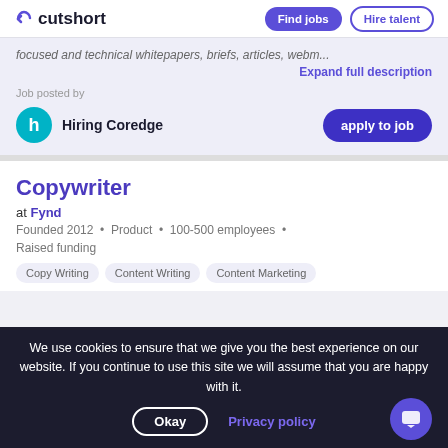cutshort | Find jobs | Hire talent
...focused and technical whitepapers, briefs, articles, webm...
Expand full description
Job posted by
Hiring Coredge
apply to job
Copywriter
at Fynd
Founded 2012 • Product • 100-500 employees • Raised funding
Copy Writing   Content Writing   Content Marketing
We use cookies to ensure that we give you the best experience on our website. If you continue to use this site we will assume that you are happy with it.
Okay | Privacy policy